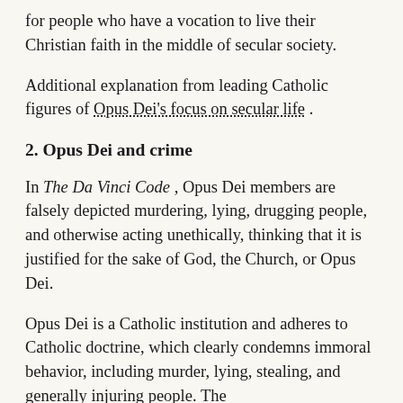for people who have a vocation to live their Christian faith in the middle of secular society.
Additional explanation from leading Catholic figures of Opus Dei's focus on secular life .
2. Opus Dei and crime
In The Da Vinci Code , Opus Dei members are falsely depicted murdering, lying, drugging people, and otherwise acting unethically, thinking that it is justified for the sake of God, the Church, or Opus Dei.
Opus Dei is a Catholic institution and adheres to Catholic doctrine, which clearly condemns immoral behavior, including murder, lying, stealing, and generally injuring people. The